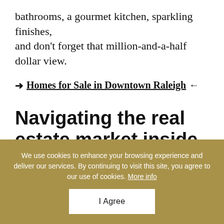bathrooms, a gourmet kitchen, sparkling finishes, and don't forget that million-and-a-half dollar view.
→ Homes for Sale in Downtown Raleigh ←
Navigating the real estate market inside the Beltline?
Today's real estate market presents unique challenges…
We use cookies to enhance your browsing experience and deliver our services. By continuing to visit this site, you agree to our use of cookies. More info
I Agree